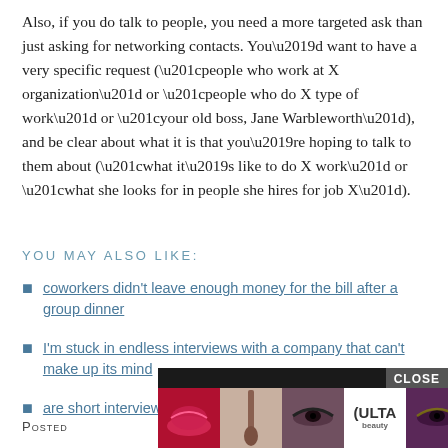Also, if you do talk to people, you need a more targeted ask than just asking for networking contacts. You’d want to have a very specific request (“people who work at X organization” or “people who do X type of work” or “your old boss, Jane Warbleworth”), and be clear about what it is that you’re hoping to talk to them about (“what it’s like to do X work” or “what she looks for in people she hires for job X”).
YOU MAY ALSO LIKE:
coworkers didn't leave enough money for the bill after a group dinner
I'm stuck in endless interviews with a company that can't make up its mind
are short interviews always a bad sign?
Posted
[Figure (photo): ULTA Beauty advertisement banner with makeup photos (lips, brush, eyes) and SHOP NOW button with CLOSE button]